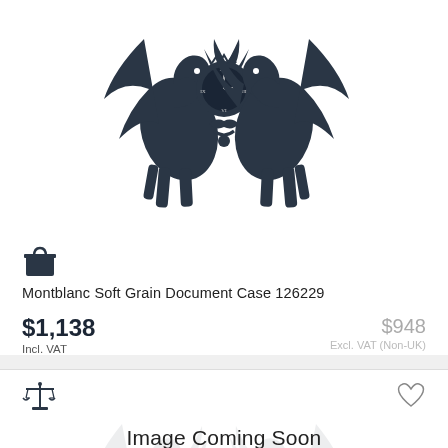[Figure (logo): Montblanc brand logo with two horses and clock emblem, top portion visible]
[Figure (illustration): Shopping bag icon]
Montblanc Soft Grain Document Case 126229
$1,138
Incl. VAT
$948
Excl. VAT (Non-UK)
[Figure (illustration): Scales of justice icon]
[Figure (illustration): Heart/wishlist icon]
[Figure (illustration): Montblanc brand logo horses, partially visible with Image Coming Soon text overlay]
Image Coming Soon